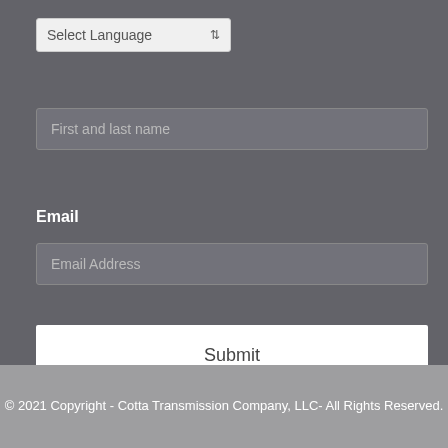[Figure (screenshot): Select Language dropdown field]
First and last name
Email
Email Address
Submit
© 2021 Copyright - Cotta Transmission Company, LLC- All Rights Reserved.